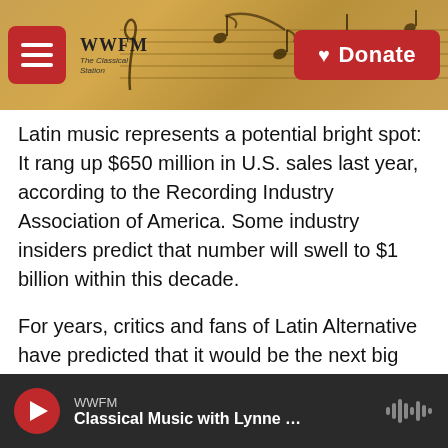WWFM The Classical Station — Donate
Latin music represents a potential bright spot: It rang up $650 million in U.S. sales last year, according to the Recording Industry Association of America. Some industry insiders predict that number will swell to $1 billion within this decade.
For years, critics and fans of Latin Alternative have predicted that it would be the next big thing. The genre, a potpourri of influences ranging from salsa to hip-hop, is wildly popular in the Spanish-speaking world.
But while bands such as Ozomatli and Café Tacuba
WWFM — Classical Music with Lynne …